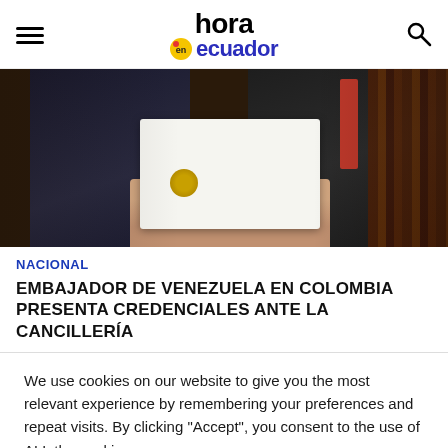hora en ecuador
[Figure (photo): Two men in dark suits exchanging or presenting a white document/envelope with a golden seal. Bookshelves visible in the background.]
NACIONAL
EMBAJADOR DE VENEZUELA EN COLOMBIA PRESENTA CREDENCIALES ANTE LA CANCILLERÍA
We use cookies on our website to give you the most relevant experience by remembering your preferences and repeat visits. By clicking "Accept", you consent to the use of ALL the cookies.
Do not sell my personal information.
Cookie settings  ACCEPT